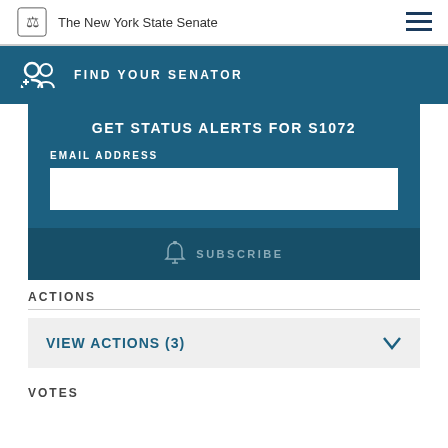The New York State Senate
FIND YOUR SENATOR
GET STATUS ALERTS FOR S1072
EMAIL ADDRESS
SUBSCRIBE
ACTIONS
VIEW ACTIONS (3)
VOTES